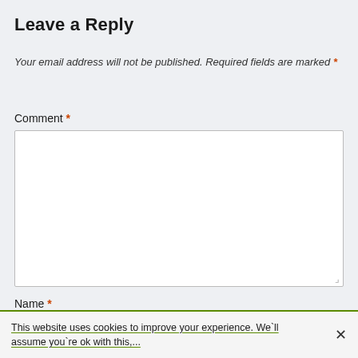Leave a Reply
Your email address will not be published. Required fields are marked *
Comment *
Name *
This website uses cookies to improve your experience. We`ll assume you`re ok with this,...